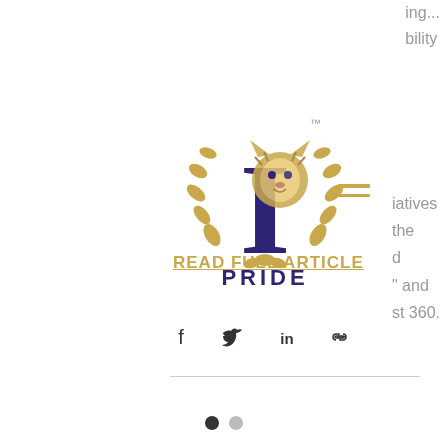ing...
bility
[Figure (logo): PRIDE organization logo with a large decorative letter I, a tiger, and laurel wreath in gold and navy blue, with the word PRIDE below in navy blue]
iatives
the
d
" and
st 360.
[Figure (other): Gold hamburger/menu icon with two horizontal lines]
READ FULL ARTICLE
[Figure (other): Social sharing icons: Facebook, Twitter, LinkedIn, link/chain]
[Figure (other): Pagination dots: one filled dark, one light gray]